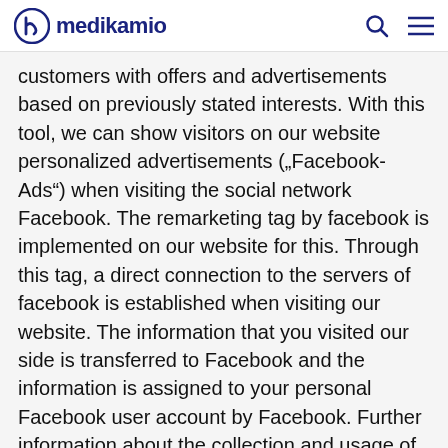medikamio
customers with offers and advertisements based on previously stated interests. With this tool, we can show visitors on our website personalized advertisements („Facebook-Ads“) when visiting the social network Facebook. The remarketing tag by facebook is implemented on our website for this. Through this tag, a direct connection to the servers of facebook is established when visiting our website. The information that you visited our side is transferred to Facebook and the information is assigned to your personal Facebook user account by Facebook. Further information about the collection and usage of data by Facebook and your regarding rights and options to protect your privacy can be found in the privacy policy by Facebook on https://ww